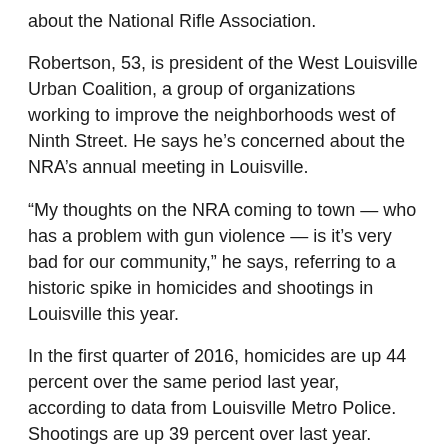about the National Rifle Association.
Robertson, 53, is president of the West Louisville Urban Coalition, a group of organizations working to improve the neighborhoods west of Ninth Street. He says he's concerned about the NRA's annual meeting in Louisville.
“My thoughts on the NRA coming to town — who has a problem with gun violence — is it’s very bad for our community,” he says, referring to a historic spike in homicides and shootings in Louisville this year.
In the first quarter of 2016, homicides are up 44 percent over the same period last year, according to data from Louisville Metro Police. Shootings are up 39 percent over last year.